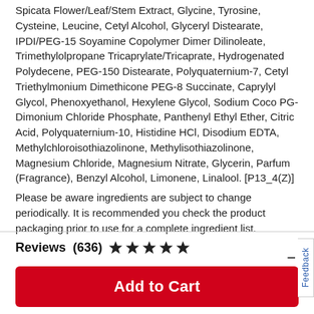Spicata Flower/Leaf/Stem Extract, Glycine, Tyrosine, Cysteine, Leucine, Cetyl Alcohol, Glyceryl Distearate, IPDI/PEG-15 Soyamine Copolymer Dimer Dilinoleate, Trimethylolpropane Tricaprylate/Tricaprate, Hydrogenated Polydecene, PEG-150 Distearate, Polyquaternium-7, Cetyl Triethylmonium Dimethicone PEG-8 Succinate, Caprylyl Glycol, Phenoxyethanol, Hexylene Glycol, Sodium Coco PG-Dimonium Chloride Phosphate, Panthenyl Ethyl Ether, Citric Acid, Polyquaternium-10, Histidine HCl, Disodium EDTA, Methylchloroisothiazolinone, Methylisothiazolinone, Magnesium Chloride, Magnesium Nitrate, Glycerin, Parfum (Fragrance), Benzyl Alcohol, Limonene, Linalool. [P13_4(Z)]
Please be aware ingredients are subject to change periodically. It is recommended you check the product packaging prior to use for a complete ingredient list.
Reviews  (636) ★★★★★
Add to Cart